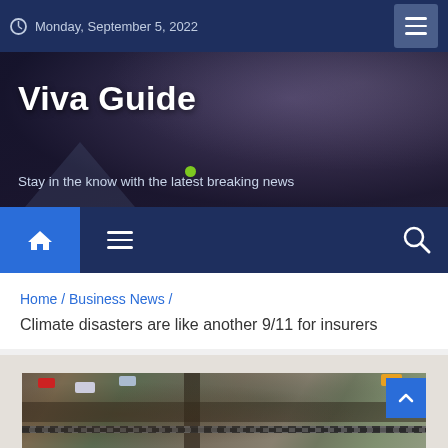Monday, September 5, 2022
Viva Guide
Stay in the know with the latest breaking news
Home / Business News / Climate disasters are like another 9/11 for insurers
[Figure (photo): Aerial photograph showing flood or disaster damage to roads, railroad tracks, and surrounding area with debris, vehicles visible from above]